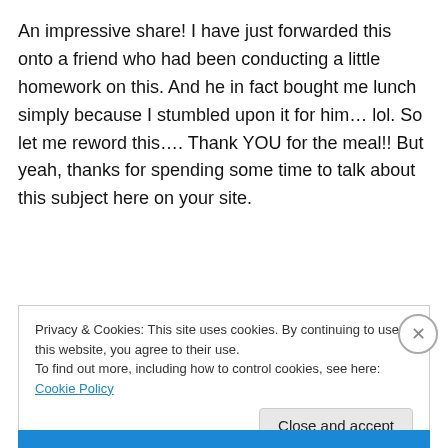An impressive share! I have just forwarded this onto a friend who had been conducting a little homework on this. And he in fact bought me lunch simply because I stumbled upon it for him… lol. So let me reword this…. Thank YOU for the meal!! But yeah, thanks for spending some time to talk about this subject here on your site.
Privacy & Cookies: This site uses cookies. By continuing to use this website, you agree to their use. To find out more, including how to control cookies, see here: Cookie Policy
Close and accept